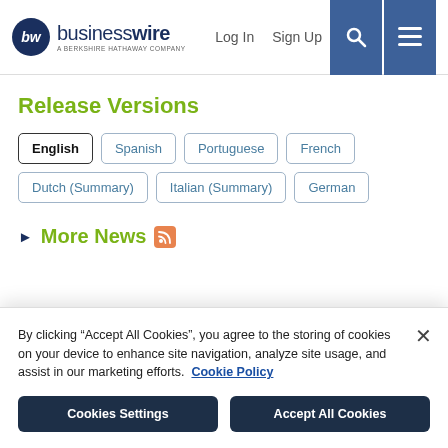businesswire — A BERKSHIRE HATHAWAY COMPANY | Log In | Sign Up
Release Versions
English
Spanish
Portuguese
French
Dutch (Summary)
Italian (Summary)
German
More News
By clicking “Accept All Cookies”, you agree to the storing of cookies on your device to enhance site navigation, analyze site usage, and assist in our marketing efforts. Cookie Policy
Cookies Settings | Accept All Cookies